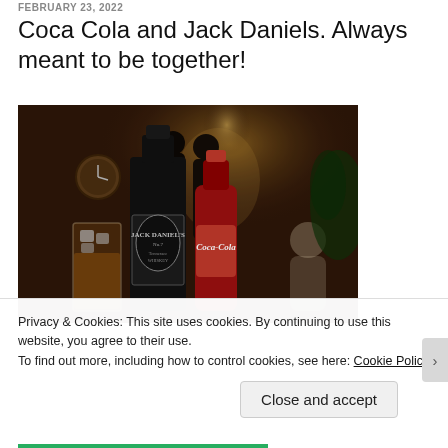FEBRUARY 23, 2022
Coca Cola and Jack Daniels. Always meant to be together!
[Figure (photo): Photo of Jack Daniels Tennessee Whiskey bottle and a Coca-Cola bottle side by side on a bar counter, with a glass of ice and whiskey on the left, people in the background, warm ambient lighting, clock on the wall.]
Privacy & Cookies: This site uses cookies. By continuing to use this website, you agree to their use.
To find out more, including how to control cookies, see here: Cookie Policy
Close and accept